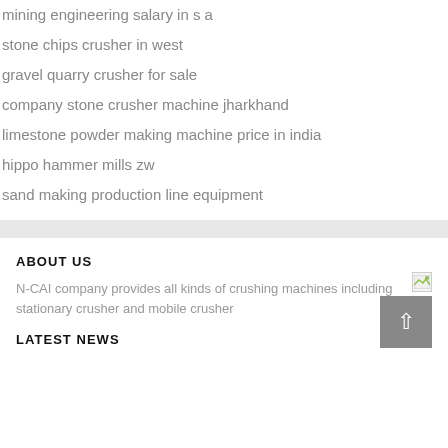mining engineering salary in s a
stone chips crusher in west
gravel quarry crusher for sale
company stone crusher machine jharkhand
limestone powder making machine price in india
hippo hammer mills zw
sand making production line equipment
ABOUT US
N-CAI company provides all kinds of crushing machines including stationary crusher and mobile crusher
LATEST NEWS